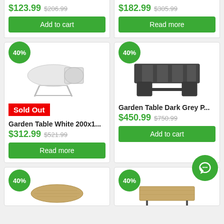$123.99  $206.99
$182.99  $305.99
Add to cart
Read more
40%
[Figure (photo): White extendable garden table with oval top and metal legs]
Sold Out
Garden Table White 200x1...
$312.99  $521.99
Read more
40%
[Figure (photo): Dark grey garden table with rectangular top and panel legs]
Garden Table Dark Grey P...
$450.99  $750.99
Add to cart
40%
[Figure (photo): Wooden oval garden table, partial view]
40%
[Figure (photo): Wooden rectangular garden table with metal legs, partial view]